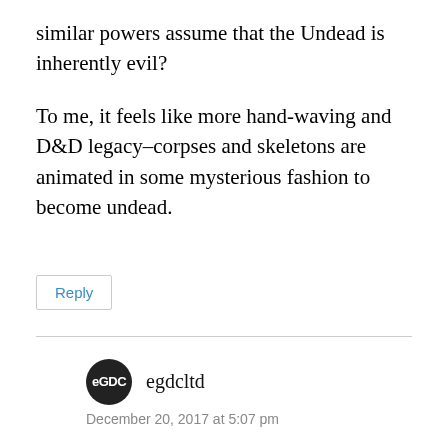similar powers assume that the Undead is inherently evil?
To me, it feels like more hand-waving and D&D legacy–corpses and skeletons are animated in some mysterious fashion to become undead.
Reply
egdcltd
December 20, 2017 at 5:07 pm
It is perhaps too broad a definition. Manufactured undead, I think I could